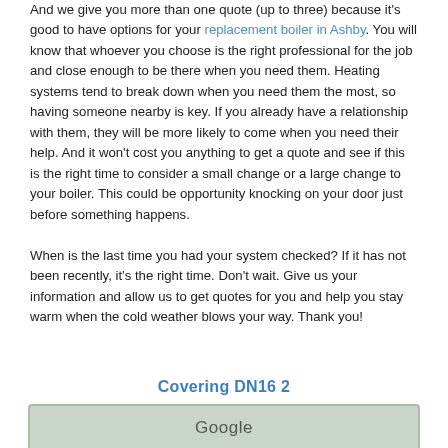And we give you more than one quote (up to three) because it's good to have options for your replacement boiler in Ashby. You will know that whoever you choose is the right professional for the job and close enough to be there when you need them. Heating systems tend to break down when you need them the most, so having someone nearby is key. If you already have a relationship with them, they will be more likely to come when you need their help. And it won't cost you anything to get a quote and see if this is the right time to consider a small change or a large change to your boiler. This could be opportunity knocking on your door just before something happens.
When is the last time you had your system checked? If it has not been recently, it's the right time. Don't wait. Give us your information and allow us to get quotes for you and help you stay warm when the cold weather blows your way. Thank you!
Covering DN16 2
[Figure (other): Google map partial view showing DN16 2 area coverage]